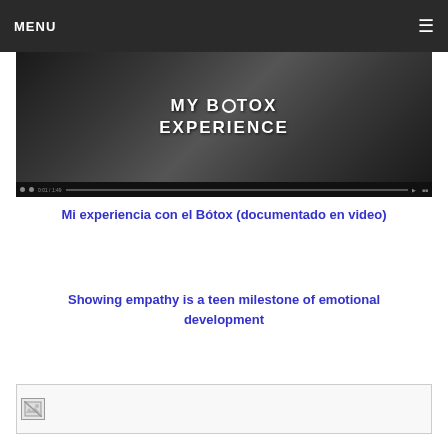MENU
[Figure (screenshot): Video thumbnail with text 'MY BOTOX EXPERIENCE' on dark background with video player controls at bottom]
Mi experiencia con el Bótox (documentado en video)
Showing empathy is a teen milestone of emotional development
[Figure (photo): Broken/loading image placeholder]